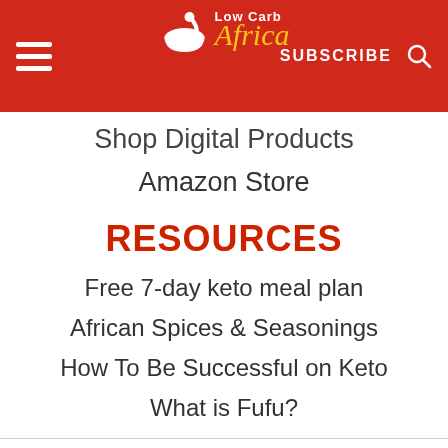Low Carb Africa — SUBSCRIBE
Shop Digital Products
Amazon Store
RESOURCES
Free 7-day keto meal plan
African Spices & Seasonings
How To Be Successful on Keto
What is Fufu?
INFORMATION